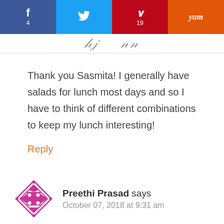[Figure (infographic): Social sharing bar with Facebook (f, 4), Twitter (bird icon), Pinterest (P, 19), and Yummly (yum) buttons]
[Figure (illustration): Partial cursive/script text decorative header strip]
Thank you Sasmita! I generally have salads for lunch most days and so I have to think of different combinations to keep my lunch interesting!
Reply
[Figure (logo): Preethi Prasad avatar icon — pink/magenta decorative geometric square diamond pattern]
Preethi Prasad says
October 07, 2018 at 9:31 am